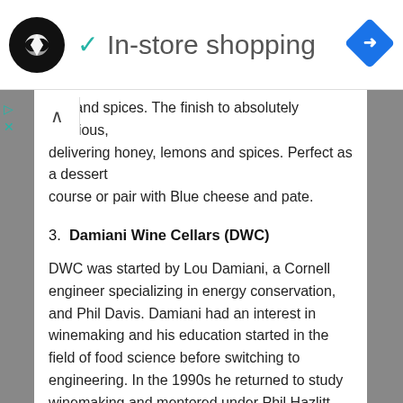[Figure (logo): Black circular logo with white double-arrow/infinity symbol, teal checkmark, text 'In-store shopping', and blue diamond navigation icon on white banner]
ies, and spices. The finish to absolutely delicious, delivering honey, lemons and spices. Perfect as a dessert course or pair with Blue cheese and pate.
3. Damiani Wine Cellars (DWC)
DWC was started by Lou Damiani, a Cornell engineer specializing in energy conservation, and Phil Davis. Damiani had an interest in winemaking and his education started in the field of food science before switching to engineering. In the 1990s he returned to study winemaking and mentored under Phil Hazlitt.
In 1996 Damiani wanted to plant Cabernet Franc and Merlot and visited an old friend and college friend, Phil Davis, who was also a viticulturist. They started the project and in 1997